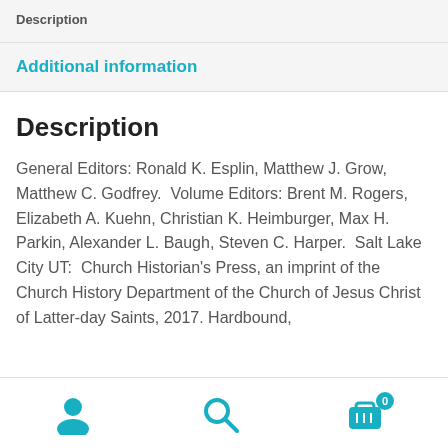Description
Additional information
Description
General Editors: Ronald K. Esplin, Matthew J. Grow, Matthew C. Godfrey. Volume Editors: Brent M. Rogers, Elizabeth A. Kuehn, Christian K. Heimburger, Max H. Parkin, Alexander L. Baugh, Steven C. Harper. Salt Lake City UT: Church Historian’s Press, an imprint of the Church History Department of the Church of Jesus Christ of Latter-day Saints, 2017. Hardbound,
[Figure (infographic): Bottom navigation bar with three icons: person/user icon, search/magnifying glass icon, and shopping cart icon with badge showing 0]